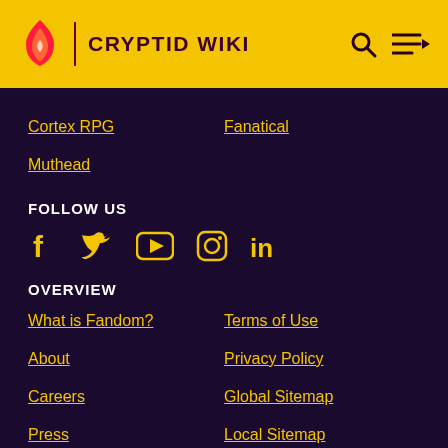CRYPTID WIKI
Cortex RPG
Fanatical
Muthead
FOLLOW US
[Figure (infographic): Social media icons: Facebook, Twitter, YouTube, Instagram, LinkedIn]
OVERVIEW
What is Fandom?
Terms of Use
About
Privacy Policy
Careers
Global Sitemap
Press
Local Sitemap